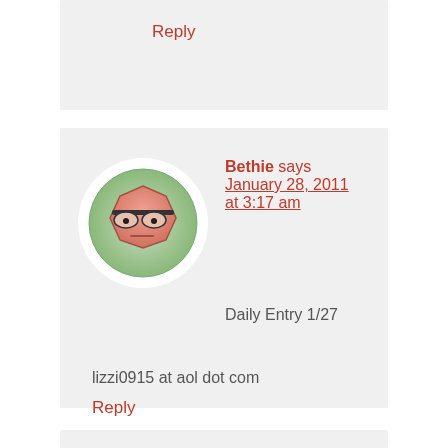Reply
[Figure (illustration): Cartoon avatar of a hexagonal-shaped character with glasses and a neutral expression, on a green circular background]
Bethie says January 28, 2011 at 3:17 am
Daily Entry 1/27
lizzi0915 at aol dot com
Reply